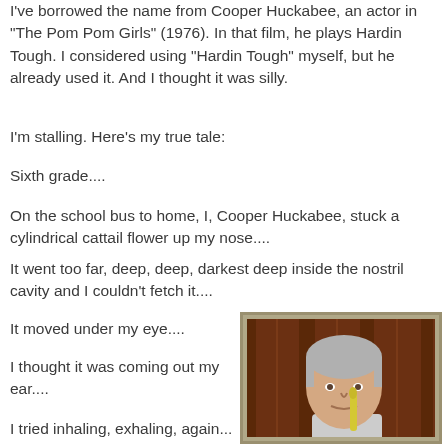I've borrowed the name from Cooper Huckabee, an actor in "The Pom Pom Girls" (1976). In that film, he plays Hardin Tough. I considered using "Hardin Tough" myself, but he already used it. And I thought it was silly.
I'm stalling. Here's my true tale:
Sixth grade....
On the school bus to home, I, Cooper Huckabee, stuck a cylindrical cattail flower up my nose....
It went too far, deep, deep, darkest deep inside the nostril cavity and I couldn't fetch it....
It moved under my eye....
I thought it was coming out my ear....
I tried inhaling, exhaling, again...
[Figure (photo): Photo of a middle-aged man with gray hair holding a yellow object up to his nostril, sitting in front of a wood-paneled background.]